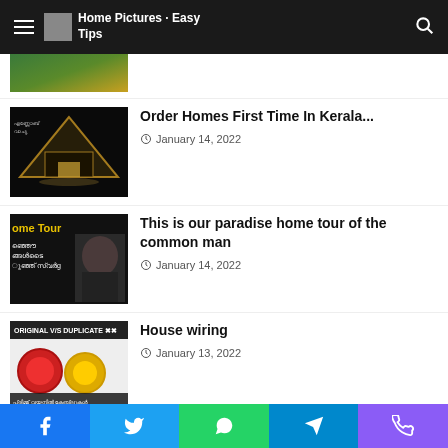Home Pictures Easy Tips
[Figure (screenshot): Thumbnail of a home article (partially visible at top)]
[Figure (screenshot): Thumbnail for 'Order Homes First Time In Kerala' article showing a triangular glass house at night]
Order Homes First Time In Kerala...
January 14, 2022
[Figure (screenshot): Thumbnail for 'This is our paradise home tour of the common man' showing Home Tour text with a woman in black dress]
This is our paradise home tour of the common man
January 14, 2022
[Figure (screenshot): Thumbnail for 'House wiring' article showing ORIGINAL VS DUPLICATE wires with red and yellow coils]
House wiring
January 13, 2022
[Figure (screenshot): Bottom strip showing partial images of people and interiors]
Facebook Twitter WhatsApp Telegram Phone social sharing buttons